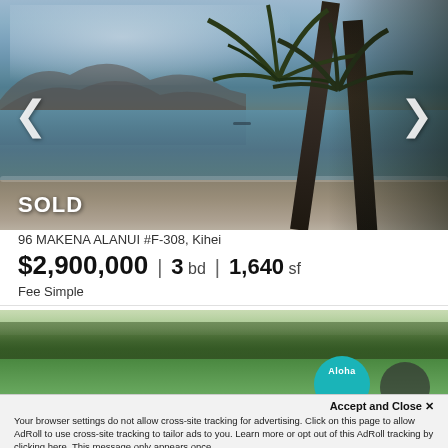[Figure (photo): Beach/ocean scene with palm trees, calm blue water, mountain in background, sandy shore. SOLD badge overlay in lower left. Navigation arrows on left and right.]
SOLD
96 MAKENA ALANUI #F-308, Kihei
$2,900,000 | 3 bd | 1,640 sf
Fee Simple
[Figure (photo): Landscape/agricultural scene with green fields, trees in background, Aloha logo circle partially visible.]
Accept and Close ✕
Your browser settings do not allow cross-site tracking for advertising. Click on this page to allow AdRoll to use cross-site tracking to tailor ads to you. Learn more or opt out of this AdRoll tracking by clicking here. This message only appears once.